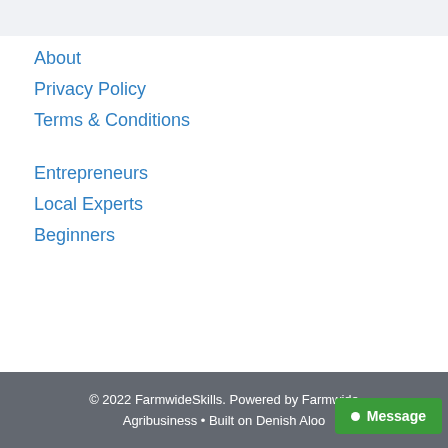About
Privacy Policy
Terms & Conditions
Entrepreneurs
Local Experts
Beginners
© 2022 FarmwideSkills. Powered by Farmwide Agribusiness • Built on Denish Aloo